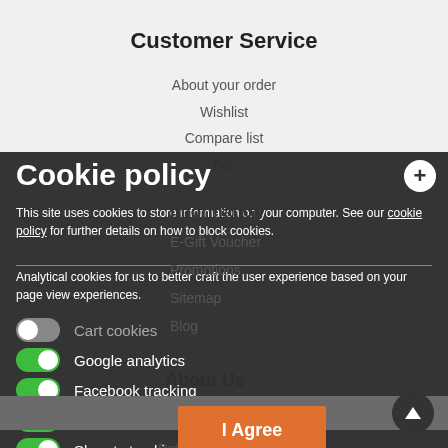Customer Service
About your order
Wishlist
Compare list
Tips
Cookie policy
This site uses cookies to store information on your computer. See our cookie policy for further details on how to block cookies.
Analytical cookies for us to better craft the user experience based on your page view experiences.
Cart cookies (toggle off)
Google analytics (toggle on)
Facebook tracking (toggle on)
Adwords tracking (toggle on)
Skroutz tracking (toggle on)
Information
E-Gift Voucher
Promotion
Sitemap
Blog
About Us
Yes to all
Contact Us
Returns
Privacy policy
I Agree